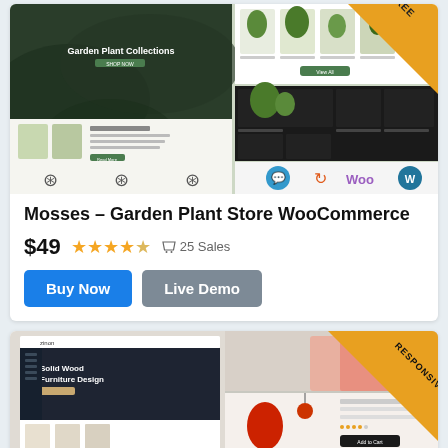[Figure (screenshot): Mosses Garden Plant Store WooCommerce theme preview screenshot with two-panel mockup and WooCommerce/WordPress logos]
Mosses – Garden Plant Store WooCommerce
$49  ★★★★☆  25 Sales
Buy Now  Live Demo
[Figure (screenshot): Furniture store WooCommerce theme preview screenshot with RESPONSIVE badge]